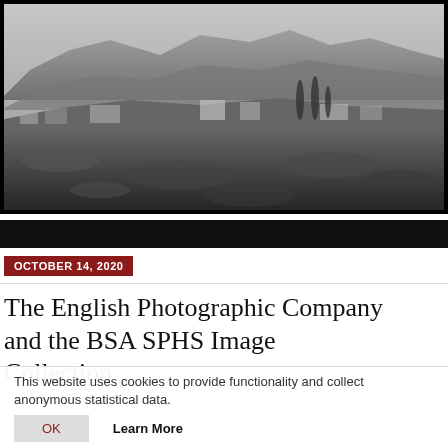[Figure (photo): Black and white landscape photograph showing a rural village or town in the foreground with flat-roofed buildings, trees (including tall cypress trees), and a large rocky mountain range in the background. Rocky and scrubby terrain in the foreground.]
OCTOBER 14, 2020
The English Photographic Company and the BSA SPHS Image Collection
This website uses cookies to provide functionality and collect anonymous statistical data.
OK
Learn More